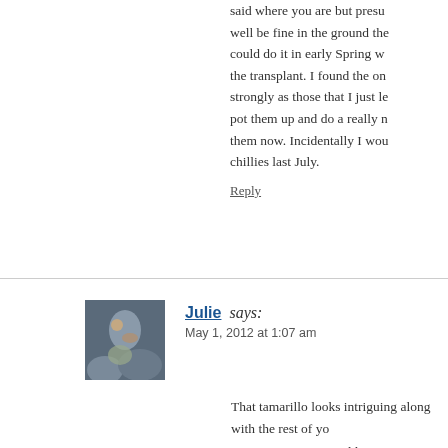said where you are but presu well be fine in the ground the could do it in early Spring w the transplant. I found the on strongly as those that I just le pot them up and do a really n them now. Incidentally I wou chillies last July.
Reply
Julie says:
May 1, 2012 at 1:07 am
That tamarillo looks intriguing along with the rest of yo try sweet potatoes and lemongrass, however, I have not farmer's exchange told me to come back the 2nd week bit late, but I guess they know how to grow things muc Chinese cabbage- it is so pretty and perfect!